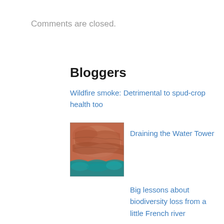Comments are closed.
Bloggers
Wildfire smoke: Detrimental to spud-crop health too
[Figure (photo): Satellite or aerial image of reddish-brown terrain with teal/blue vegetation at the bottom edge, likely a landscape or geographical feature.]
Draining the Water Tower
Big lessons about biodiversity loss from a little French river